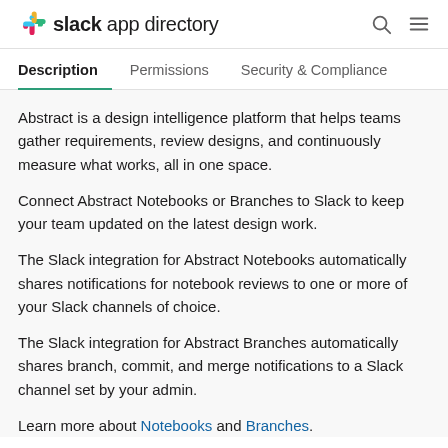slack app directory
Description | Permissions | Security & Compliance
Abstract is a design intelligence platform that helps teams gather requirements, review designs, and continuously measure what works, all in one space.
Connect Abstract Notebooks or Branches to Slack to keep your team updated on the latest design work.
The Slack integration for Abstract Notebooks automatically shares notifications for notebook reviews to one or more of your Slack channels of choice.
The Slack integration for Abstract Branches automatically shares branch, commit, and merge notifications to a Slack channel set by your admin.
Learn more about Notebooks and Branches.